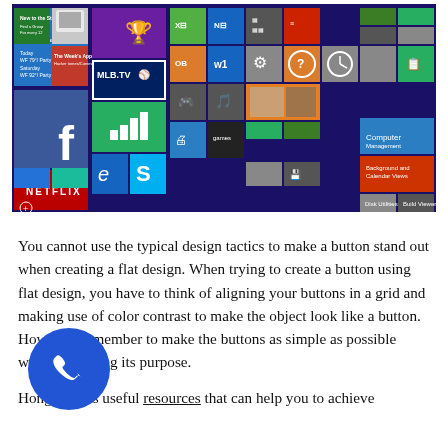[Figure (screenshot): Windows 8 Start Screen with colorful Metro-style tiles including Netflix, MLB.TV, Facebook, Internet Explorer, Skype, weather, and various other app tiles on a dark blue background.]
You cannot use the typical design tactics to make a button stand out when creating a flat design. When trying to create a button using flat design, you have to think of aligning your buttons in a grid and making use of color contrast to make the object look like a button. However, remember to make the buttons as simple as possible without it losing its purpose.
Hongkiat has useful resources that can help you to achieve